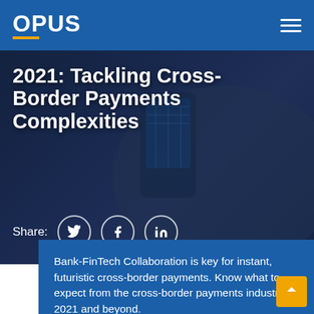OPUS
[Figure (photo): Hero image showing hands holding a smartphone with a financial app, overlaid with large white bold text reading '2021: Tackling Cross-Border Payments Complexities' with social share icons (Twitter, Facebook, LinkedIn) below]
2021: Tackling Cross-Border Payments Complexities
Bank-FinTech Collaboration is key for instant, futuristic cross-border payments. Know what to expect from the cross-border payments industry in 2021 and beyond.